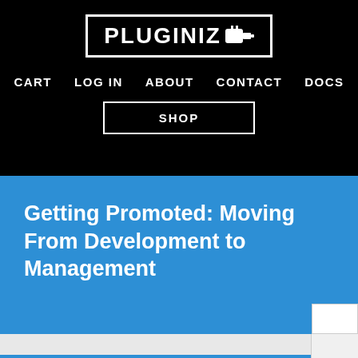[Figure (logo): Pluginize logo: white bold text PLUGINIZE with a plug icon, inside a white rectangular border on a black background]
CART   LOG IN   ABOUT   CONTACT   DOCS
SHOP
Getting Promoted: Moving From Development to Management